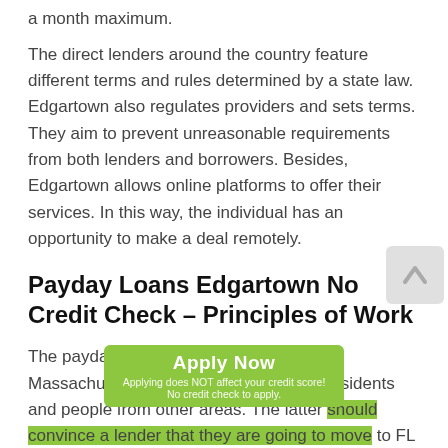a month maximum.
The direct lenders around the country feature different terms and rules determined by a state law. Edgartown also regulates providers and sets terms. They aim to prevent unreasonable requirements from both lenders and borrowers. Besides, Edgartown allows online platforms to offer their services. In this way, the individual has an opportunity to make a deal remotely.
Payday Loans Edgartown No Credit Check – Principles of Work
The payday advance loans Edgartown in Massachusetts are available to both its residents and people from other areas. The latter should convince a lender that they are going to move to FL in the nearest future. The algorithm of applying for a loan is similar to a process in other states. The main difference is in the sizes of the amount borrowed